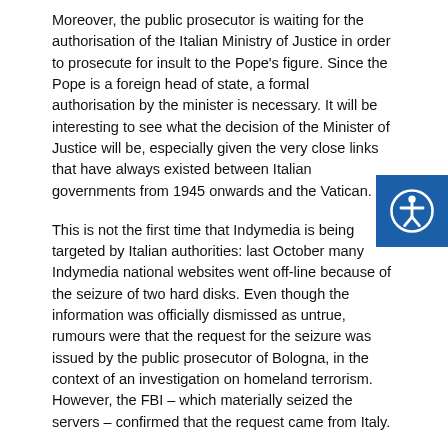Moreover, the public prosecutor is waiting for the authorisation of the Italian Ministry of Justice in order to prosecute for insult to the Pope's figure. Since the Pope is a foreign head of state, a formal authorisation by the minister is necessary. It will be interesting to see what the decision of the Minister of Justice will be, especially given the very close links that have always existed between Italian governments from 1945 onwards and the Vatican.
This is not the first time that Indymedia is being targeted by Italian authorities: last October many Indymedia national websites went off-line because of the seizure of two hard disks. Even though the information was officially dismissed as untrue, rumours were that the request for the seizure was issued by the public prosecutor of Bologna, in the context of an investigation on homeland terrorism. However, the FBI – which materially seized the servers – confirmed that the request came from Italy.
The fake image of Pope Benedictus XVI
http://italy.indymedia.org/news/2005/04/782557.php
(Contribution by Andrea Glorioso, Italian consultant on digital policies)